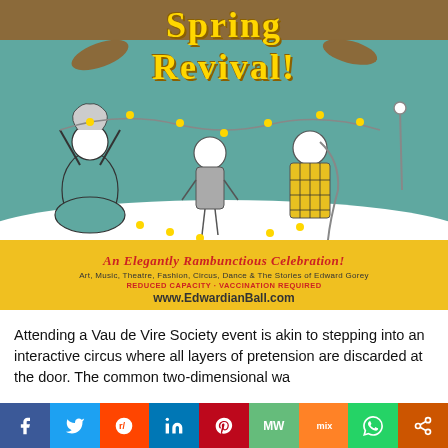[Figure (illustration): Spring Revival event poster for Edwardian Ball by Vau de Vire Society. Features illustrated characters holding flower garlands on a teal background with yellow bottom banner. Text includes 'SPRING REVIVAL!', 'An Elegantly Rambunctious Celebration!', 'Art, Music, Theatre, Fashion, Circus, Dance & The Stories of Edward Gorey', 'REDUCED CAPACITY · VACCINATION REQUIRED', 'www.EdwardianBall.com']
Attending a Vau de Vire Society event is akin to stepping into an interactive circus where all layers of pretension are discarded at the door. The common two-dimensional wa...